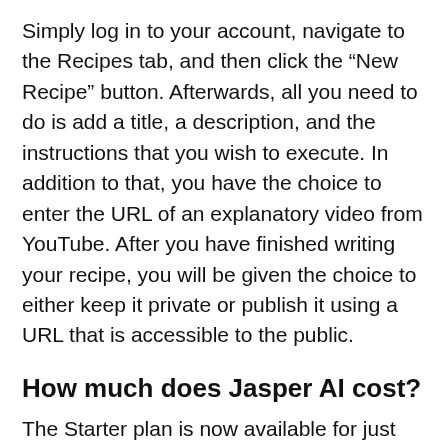Simply log in to your account, navigate to the Recipes tab, and then click the “New Recipe” button. Afterwards, all you need to do is add a title, a description, and the instructions that you wish to execute. In addition to that, you have the choice to enter the URL of an explanatory video from YouTube. After you have finished writing your recipe, you will be given the choice to either keep it private or publish it using a URL that is accessible to the public.
How much does Jasper AI cost?
The Starter plan is now available for just $24 per month rather than $29 per month (paid annually),